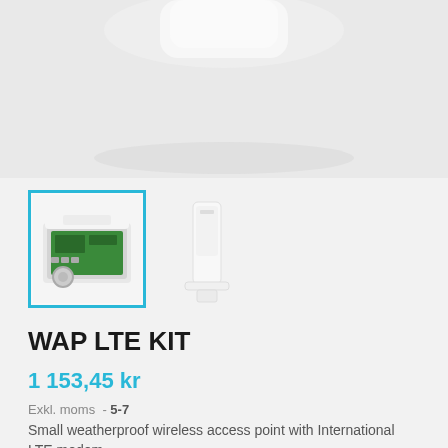[Figure (photo): Cropped top view of a white wireless networking device on a light grey background]
[Figure (photo): Selected thumbnail: internals of WAP LTE KIT device with green circuit board, highlighted with cyan border]
[Figure (photo): Secondary thumbnail: white WAP LTE device standing upright]
WAP LTE KIT
1 153,45 kr
Exkl. moms  - 5-7
Small weatherproof wireless access point with International LTE modem